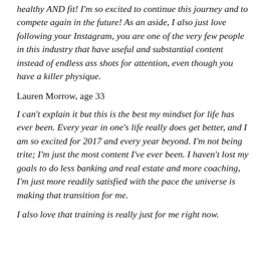healthy AND fit! I'm so excited to continue this journey and to compete again in the future! As an aside, I also just love following your Instagram, you are one of the very few people in this industry that have useful and substantial content instead of endless ass shots for attention, even though you have a killer physique.
Lauren Morrow, age 33
I can't explain it but this is the best my mindset for life has ever been. Every year in one's life really does get better, and I am so excited for 2017 and every year beyond. I'm not being trite; I'm just the most content I've ever been. I haven't lost my goals to do less banking and real estate and more coaching, I'm just more readily satisfied with the pace the universe is making that transition for me.
I also love that training is really just for me right now.